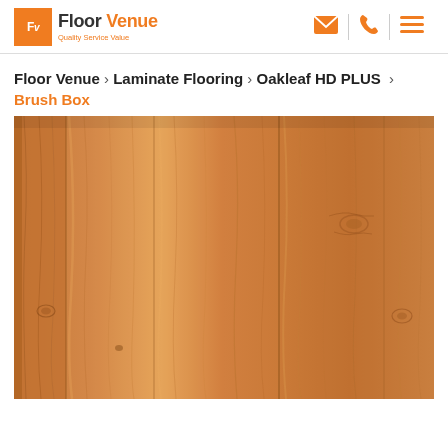Floor Venue — Quality Service Value — Header with email, phone, menu icons
Floor Venue › Laminate Flooring › Oakleaf HD PLUS › Brush Box
[Figure (photo): Close-up photo of Brush Box laminate flooring planks showing warm honey-brown wood grain texture with vertical plank lines and natural knot details.]